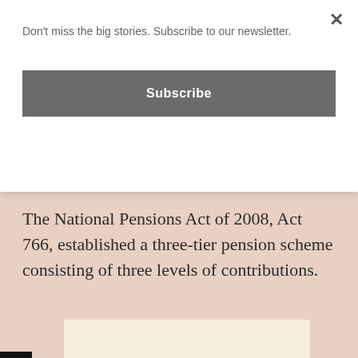Don't miss the big stories. Subscribe to our newsletter.
Subscribe
The National Pensions Act of 2008, Act 766, established a three-tier pension scheme consisting of three levels of contributions.
[Figure (other): Advertisement or image placeholder block with cream/off-white background]